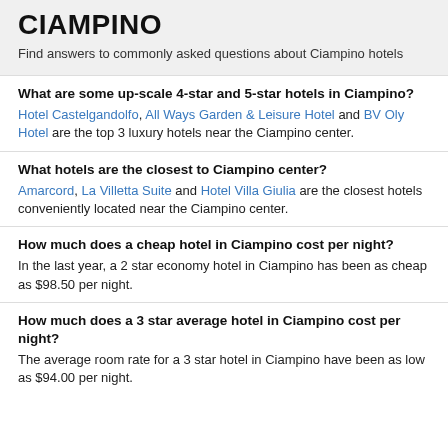CIAMPINO
Find answers to commonly asked questions about Ciampino hotels
What are some up-scale 4-star and 5-star hotels in Ciampino?
Hotel Castelgandolfo, All Ways Garden & Leisure Hotel and BV Oly Hotel are the top 3 luxury hotels near the Ciampino center.
What hotels are the closest to Ciampino center?
Amarcord, La Villetta Suite and Hotel Villa Giulia are the closest hotels conveniently located near the Ciampino center.
How much does a cheap hotel in Ciampino cost per night?
In the last year, a 2 star economy hotel in Ciampino has been as cheap as $98.50 per night.
How much does a 3 star average hotel in Ciampino cost per night?
The average room rate for a 3 star hotel in Ciampino have been as low as $94.00 per night.